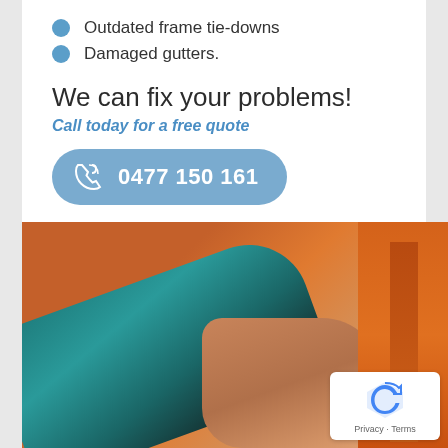Outdated frame tie-downs
Damaged gutters.
We can fix your problems!
Call today for a free quote
0477 150 161
[Figure (photo): Person using a teal/green power drill on an orange metal frame structure, outdoors with greenery in background.]